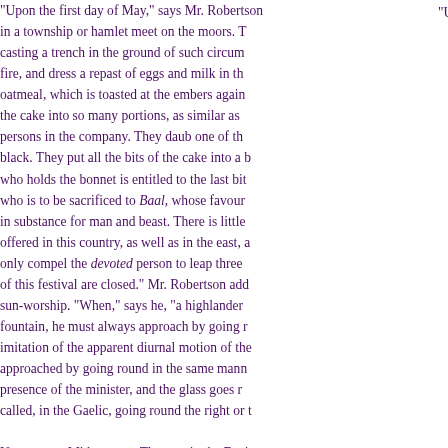"Upon the first day of May," says Mr. Robertson, the herdsmen in a township or hamlet meet on the moors. They make a fire, casting a trench in the ground of such circumference... They make a fire, and dress a repast of eggs and milk in the consistence of custard. They knead a cake of oatmeal, which is toasted at the embers against a stone. After the custard is consumed, they divide the cake into so many portions, as similar as possible to one another in the company. They daub one of these portions all over with charcoal until it be perfectly black. They put all the bits of the cake into a bonnet. Every one, blindfold, draws out a portion. He who holds the bonnet is entitled to the last bit. Whoever draws the black bit is the devoted person who is to be sacrificed to Baal, whose favour they mean to implore, in rendering the year productive of sustenance for man and beast. There is little doubt of the cruel rites once offered in this country, as well as in the east, and the kindler of the fire does only compel the devoted person to leap three times through the flames. The rites of this festival are closed." Mr. Robertson adds a curious trait indicative of sun-worship. "When," says he, "a highlander approaches a well or fountain, he must always approach by going round it from east to west, in imitation of the apparent diurnal motion of the sun. Every thing is to be approached by going round in the same manner. The table goes round in presence of the minister, and the glass goes round from right to left, or as called, in the Gaelic, going round the right or the sun's way."

Next comes Midsummer. Then again the Druids are on the moorlands of Caledonia, the summer solstice, and great midsummer fires blazed in honour of the returning sun.

In Scotland this festival was celebrated with much ceremony, and the sun-god was invoked to bless and ripen. "They were to obtain a blessing on the fruits of the earth, and on the first day of October as a thanksgiving for the harvest."